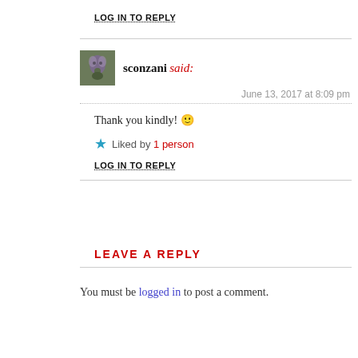LOG IN TO REPLY
sconzani said:
June 13, 2017 at 8:09 pm
Thank you kindly! 🙂
★ Liked by 1 person
LOG IN TO REPLY
LEAVE A REPLY
You must be logged in to post a comment.